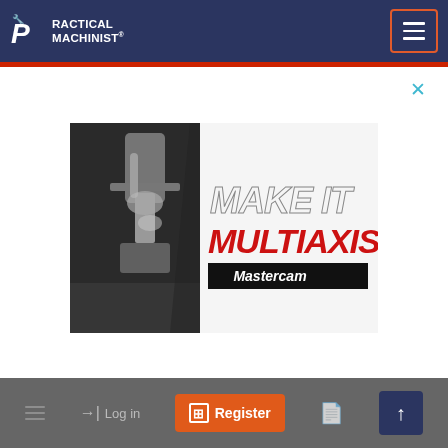PRACTICAL MACHINIST
[Figure (screenshot): Mastercam advertisement banner showing CNC milling machine on left half and 'MAKE IT MULTIAXIS' text with Mastercam logo on right half]
Log in | Register | navigation icons